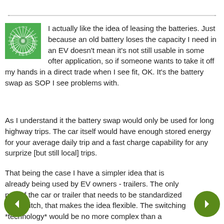I actually like the idea of leasing the batteries. Just because an old battery loses the capacity I need in an EV doesn't mean it's not still usable in some ofter application, so if someone wants to take it off my hands in a direct trade when I see fit, OK. It's the battery swap as SOP I see problems with.
As I understand it the battery swap would only be used for long highway trips. The car itself would have enough stored energy for your average daily trip and a fast charge capability for any surprize [but still local] trips.
That being the case I have a simpler idea that is already being used by EV owners - trailers. The only part of the car or trailer that needs to be standardized is the hitch, that makes the idea flexible. The switching *technology* would be no more complex than a parking lot; you just back up to the trailer you need. Any car could use any trailer, and not technology would be in the trailer.